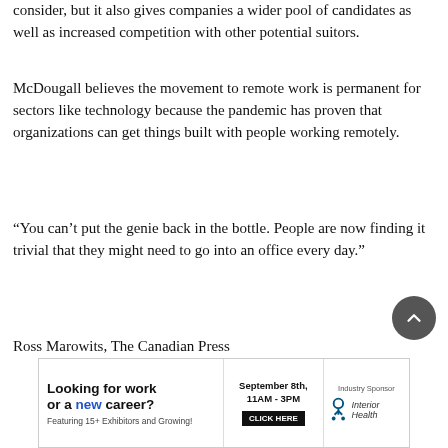consider, but it also gives companies a wider pool of candidates as well as increased competition with other potential suitors.
McDougall believes the movement to remote work is permanent for sectors like technology because the pandemic has proven that organizations can get things built with people working remotely.
“You can’t put the genie back in the bottle. People are now finding it trivial that they might need to go into an office every day.”
Ross Marowits, The Canadian Press
[Figure (infographic): Advertisement banner: 'Looking for work or a new career? Featuring 15+ Exhibitors and Growing! September 8th, 11AM-3PM. CLICK HERE. Industry Sponsor: Interior Health']